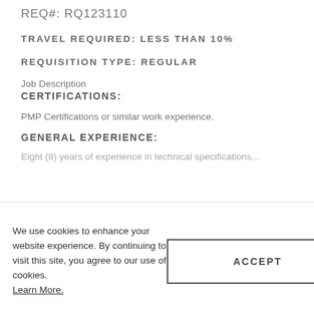REQ#: RQ123110
TRAVEL REQUIRED: LESS THAN 10%
REQUISITION TYPE: REGULAR
Job Description
CERTIFICATIONS:
PMP Certifications or similar work experience.
GENERAL EXPERIENCE:
Eight (8) years of experience in technical specifications…
We use cookies to enhance your website experience. By continuing to visit this site, you agree to our use of cookies. Learn More.
ACCEPT